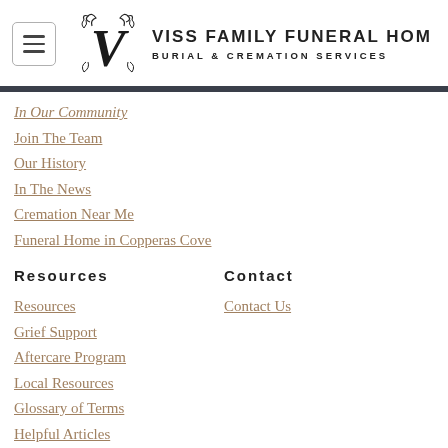VISS FAMILY FUNERAL HOME | BURIAL & CREMATION SERVICES
In Our Community
Join The Team
Our History
In The News
Cremation Near Me
Funeral Home in Copperas Cove
Resources
Contact
Resources
Contact Us
Grief Support
Aftercare Program
Local Resources
Glossary of Terms
Helpful Articles
FAQ
Payment Portal
COVID-19 Information